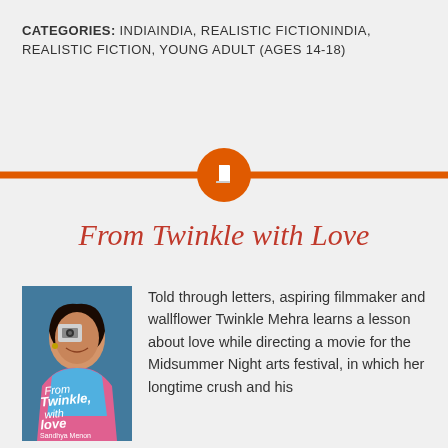CATEGORIES: INDIAINDIA, REALISTIC FICTIONINDIA, REALISTIC FICTION, YOUNG ADULT (AGES 14-18)
[Figure (illustration): Orange horizontal divider bar with a centered orange circle containing a white book icon]
From Twinkle with Love
[Figure (photo): Book cover of 'From Twinkle with Love' showing a young woman holding a camera, with the title in handwritten script and author name Sandhya Menon]
Told through letters, aspiring filmmaker and wallflower Twinkle Mehra learns a lesson about love while directing a movie for the Midsummer Night arts festival, in which her longtime crush and his